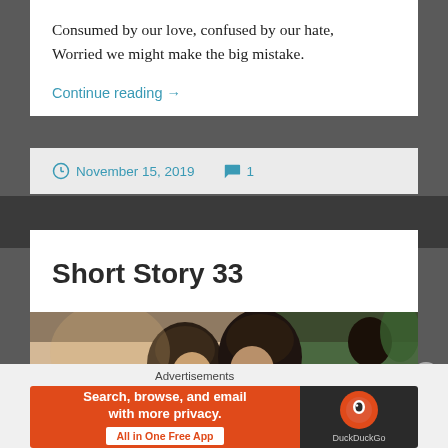Consumed by our love, confused by our hate,
Worried we might make the big mistake.
Continue reading →
November 15, 2019   1
Short Story 33
[Figure (illustration): Illustrated scene showing two dark-haired figures close together, likely a romantic or dramatic scene with a third figure visible in the background]
Advertisements
[Figure (other): DuckDuckGo advertisement banner with orange background on left saying 'Search, browse, and email with more privacy. All in One Free App' and dark background on right with DuckDuckGo logo]